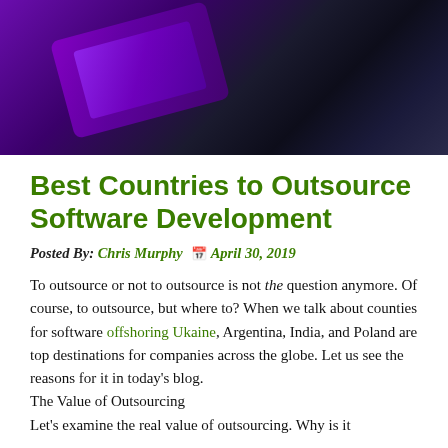[Figure (photo): Dark moody photo of a laptop/device with purple/violet lighting and dark background]
Best Countries to Outsource Software Development
Posted By: Chris Murphy   April 30, 2019
To outsource or not to outsource is not the question anymore. Of course, to outsource, but where to? When we talk about counties for software offshoring Ukaine, Argentina, India, and Poland are top destinations for companies across the globe. Let us see the reasons for it in today's blog.
The Value of Outsourcing
Let's examine the real value of outsourcing. Why is it